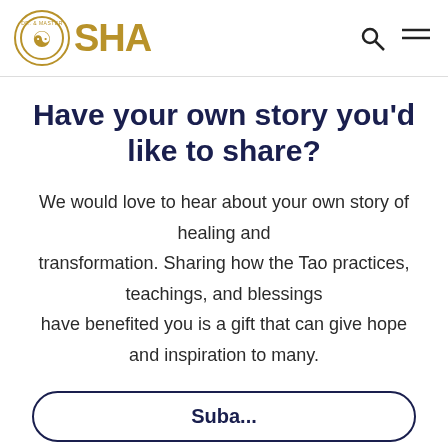[Figure (logo): Dr. & Master SHA logo with gold circular emblem and SHA text in gold]
Have your own story you'd like to share?
We would love to hear about your own story of healing and transformation. Sharing how the Tao practices, teachings, and blessings have benefited you is a gift that can give hope and inspiration to many.